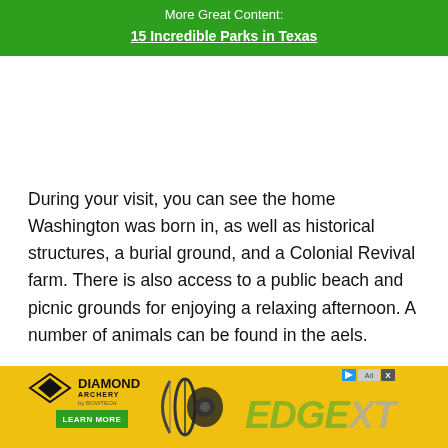More Great Content:
15 Incredible Parks in Texas
During your visit, you can see the home Washington was born in, as well as historical structures, a burial ground, and a Colonial Revival farm. There is also access to a public beach and picnic grounds for enjoying a relaxing afternoon. A number of animals can be found in the a[...]els.
[Figure (other): Diamond Archery EDGE XT advertisement banner at bottom of page]